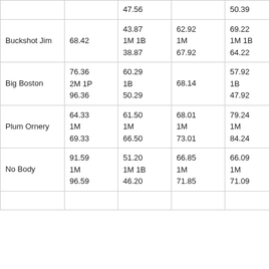|  |  | 47.56 |  | 50.39 |  |
| Buckshot Jim | 68.42 | 43.87
1M 1B
38.87 | 62.92
1M
67.92 | 69.22
1M 1B
64.22 | 57.4… |
| Big Boston | 76.36
2M 1P
96.36 | 60.29
1B
50.29 | 68.14 | 57.92
1B
47.92 | 56.2… |
| Plum Ornery | 64.33
1M
69.33 | 61.50
1M
66.50 | 68.01
1M
73.01 | 79.24
1M
84.24 | 73.75… |
| No Body | 91.59
1M
96.59 | 51.20
1M 1B
46.20 | 66.85
1M
71.85 | 66.09
1M
71.09 | 69.0…
1M
74.0… |